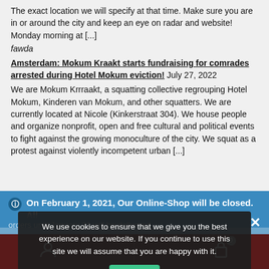The exact location we will specify at that time. Make sure you are in or around the city and keep an eye on radar and website! Monday morning at [...]
fawda
Amsterdam: Mokum Kraakt starts fundraising for comrades arrested during Hotel Mokum eviction! July 27, 2022
We are Mokum Krrraakt, a squatting collective regrouping Hotel Mokum, Kinderen van Mokum, and other squatters. We are currently located at Nicole (Kinkerstraat 304). We house people and organize nonprofit, open and free cultural and political events to fight against the growing monoculture of the city. We squat as a protest against violently incompetent urban [...]
On February 1, 2021, Our Online-Shop will be closed. All orders until January 31 will be delivered
Dismiss
We use cookies to ensure that we give you the best experience on our website. If you continue to use this site we will assume that you are happy with it.
Ok